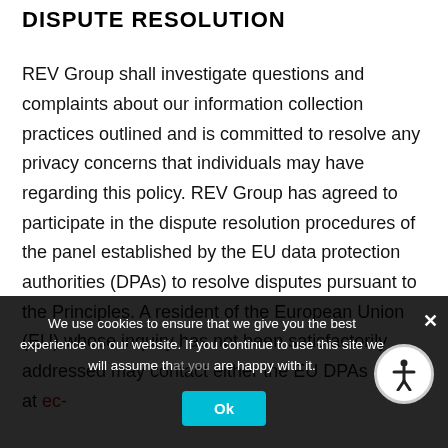DISPUTE RESOLUTION
REV Group shall investigate questions and complaints about our information collection practices outlined and is committed to resolve any privacy concerns that individuals may have regarding this policy. REV Group has agreed to participate in the dispute resolution procedures of the panel established by the EU data protection authorities (DPAs) to resolve disputes pursuant to the Principles. A resident of the European Union (EU) whose inquiry has not been satisfactorily addressed may contact either the EU DPAs panel at ec-
We use cookies to ensure that we give you the best experience on our website. If you continue to use this site we will assume that you are happy with it.